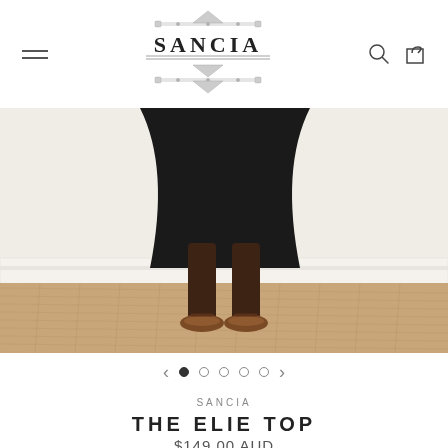SANCIA — navigation header with hamburger menu, logo, search and cart icons
[Figure (photo): Lower half of a person wearing a black flowing skirt and brown leather sandals, standing on a woven jute rug against a white baseboard wall]
[Figure (other): Carousel navigation with left arrow, one filled dot and four empty dots, and right arrow]
SANCIA
THE ELIE TOP
$149.00 AUD